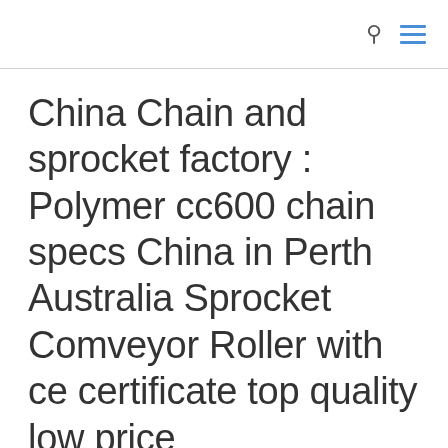China Chain and sprocket factory : Polymer cc600 chain specs China in Perth Australia Sprocket Comveyor Roller with ce certificate top quality low price